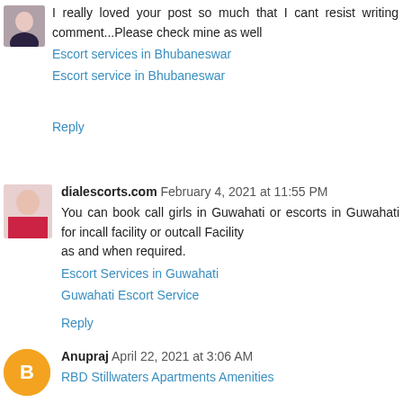I really loved your post so much that I cant resist writing comment...Please check mine as well
Escort services in Bhubaneswar
Escort service in Bhubaneswar
Reply
dialescorts.com February 4, 2021 at 11:55 PM
You can book call girls in Guwahati or escorts in Guwahati for incall facility or outcall Facility as and when required.
Escort Services in Guwahati
Guwahati Escort Service
Reply
Anupraj April 22, 2021 at 3:06 AM
RBD Stillwaters Apartments Amenities